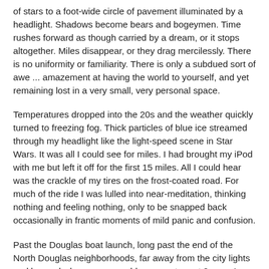of stars to a foot-wide circle of pavement illuminated by a headlight. Shadows become bears and bogeymen. Time rushes forward as though carried by a dream, or it stops altogether. Miles disappear, or they drag mercilessly. There is no uniformity or familiarity. There is only a subdued sort of awe ... amazement at having the world to yourself, and yet remaining lost in a very small, very personal space.
Temperatures dropped into the 20s and the weather quickly turned to freezing fog. Thick particles of blue ice streamed through my headlight like the light-speed scene in Star Wars. It was all I could see for miles. I had brought my iPod with me but left it off for the first 15 miles. All I could hear was the crackle of my tires on the frost-coated road. For much of the ride I was lulled into near-meditation, thinking nothing and feeling nothing, only to be snapped back occasionally in frantic moments of mild panic and confusion.
Past the Douglas boat launch, long past the end of the North Douglas neighborhoods, far away from the city lights and beyond where a car would ever venture at 2 a.m., I broke out of the fog. The clear sky opened up into a startling